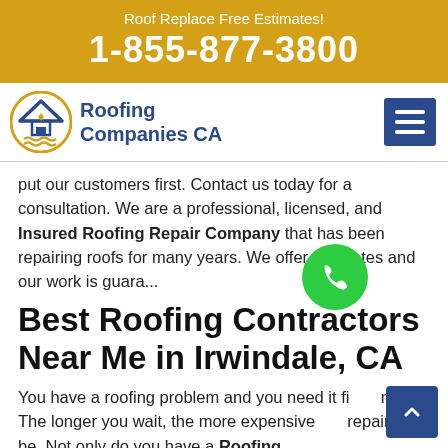Roof Replace Free Estimates!
1-855-877-3800
[Figure (logo): Roofing Companies CA logo with house/roof icon and wavy lines]
put our customers first. Contact us today for a consultation. We are a professional, licensed, and Insured Roofing Repair Company that has been repairing roofs for many years. We offer estimates and our work is guara...
Best Roofing Contractors Near Me in Irwindale, CA
You have a roofing problem and you need it fixed now. The longer you wait, the more expensive the repair will be. Not only do you have a Roofing